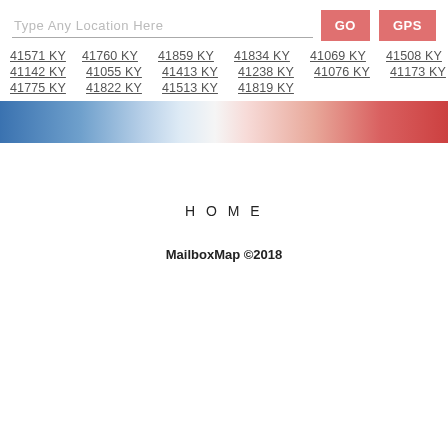Type Any Location Here | GO | GPS
41571 KY 41760 KY 41859 KY 41834 KY 41069 KY 41508 KY
41142 KY 41055 KY 41413 KY 41238 KY 41076 KY 41173 KY
41775 KY 41822 KY 41513 KY 41819 KY
[Figure (other): Blue to red gradient color bar, fading from dark blue on the left through white in the middle to dark red/salmon on the right.]
H O M E
MailboxMap ©2018